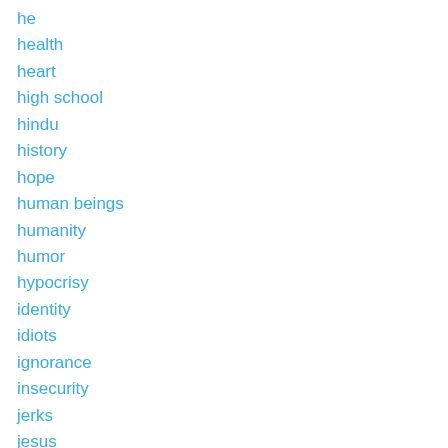he
health
heart
high school
hindu
history
hope
human beings
humanity
humor
hypocrisy
identity
idiots
ignorance
insecurity
jerks
jesus
jewish
judicial branch
judiciary